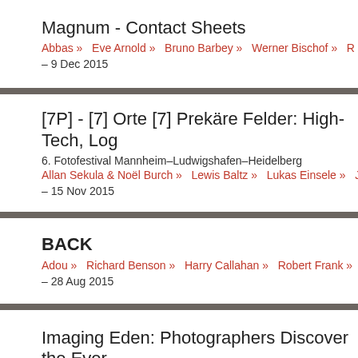Magnum - Contact Sheets
Abbas »  Eve Arnold »  Bruno Barbey »  Werner Bischof »  R…
– 9 Dec 2015
[7P] - [7] Orte [7] Prekäre Felder: High-Tech, Log…
6. Fotofestival Mannheim–Ludwigshafen–Heidelberg
Allan Sekula & Noël Burch »  Lewis Baltz »  Lukas Einsele »  J…
– 15 Nov 2015
BACK
Adou »  Richard Benson »  Harry Callahan »  Robert Frank »
– 28 Aug 2015
Imaging Eden: Photographers Discover the Ever…
Jim Goldberg »  Jung-Jin Lee »  Adam Nadel »  Gerald Slota…
– 12 Jul 2015